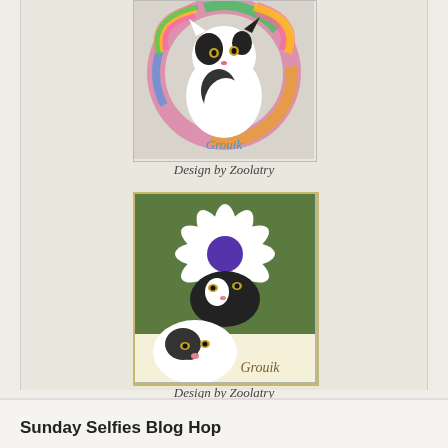[Figure (photo): Black and white cat sitting upright inside a rainbow-colored circular frame. The word 'Grouik' is written in blue cursive text at the bottom of the circle.]
Design by Zoolatry
[Figure (photo): Black and white cat looking up at a large white daisy flower. A second view of the same cat looking upward is shown in the lower portion. The name 'Grouik' is written in cursive script in the lower right corner on a cream/yellow background.]
Design by Zoolatry
Sunday Selfies Blog Hop